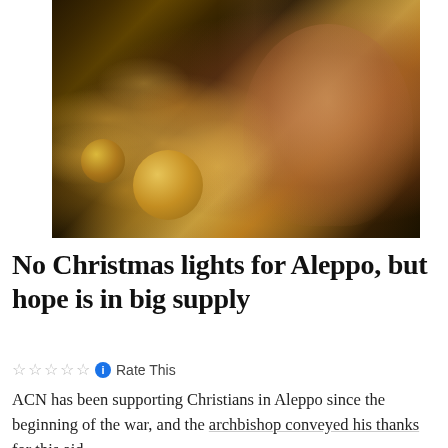[Figure (photo): A young girl smiling next to a decorated Christmas tree with golden ornaments and twinkling lights, in a dimly lit room with Christmas decorations in the background.]
No Christmas lights for Aleppo, but hope is in big supply
☆☆☆☆☆ ℹ Rate This
ACN has been supporting Christians in Aleppo since the beginning of the war, and the archbishop conveyed his thanks for this aid